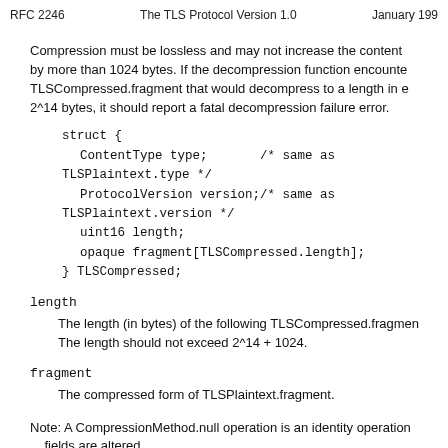RFC 2246    The TLS Protocol Version 1.0    January 199
Compression must be lossless and may not increase the content by more than 1024 bytes. If the decompression function encounters a TLSCompressed.fragment that would decompress to a length in excess of 2^14 bytes, it should report a fatal decompression failure error.
struct {
    ContentType type;        /* same as TLSPlaintext.type */
    ProtocolVersion version;/* same as TLSPlaintext.version */
    uint16 length;
    opaque fragment[TLSCompressed.length];
} TLSCompressed;
length
    The length (in bytes) of the following TLSCompressed.fragment.
    The length should not exceed 2^14 + 1024.
fragment
    The compressed form of TLSPlaintext.fragment.
Note: A CompressionMethod.null operation is an identity operation; no fields are altered.
Implementation note: